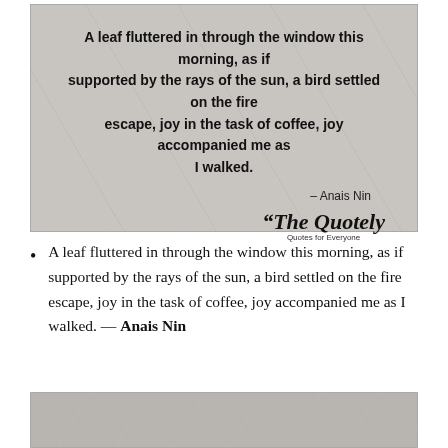[Figure (illustration): A textured gray/stone background image containing a bold quote: 'A leaf fluttered in through the window this morning, as if supported by the rays of the sun, a bird settled on the fire escape, joy in the task of coffee, joy accompanied me as I walked.' with attribution '— Anais Nin' and the 'The Quotely – Quotes for Everyone' brand logo.]
A leaf fluttered in through the window this morning, as if supported by the rays of the sun, a bird settled on the fire escape, joy in the task of coffee, joy accompanied me as I walked. — Anais Nin
[Figure (illustration): A textured gray/stone background image (bottom, partially visible).]